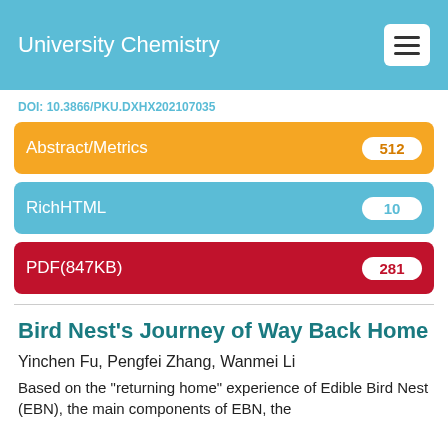University Chemistry
DOI: 10.3866/PKU.DXHX202107035
Abstract/Metrics 512
RichHTML 10
PDF(847KB) 281
Bird Nest's Journey of Way Back Home
Yinchen Fu, Pengfei Zhang, Wanmei Li
Based on the "returning home" experience of Edible Bird Nest (EBN), the main components of EBN, the